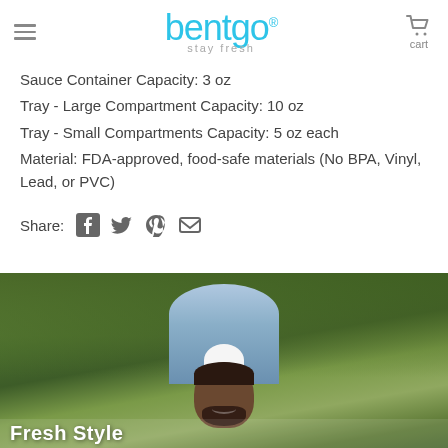bentgo — stay fresh
Sauce Container Capacity: 3 oz
Tray - Large Compartment Capacity: 10 oz
Tray - Small Compartments Capacity: 5 oz each
Material: FDA-approved, food-safe materials (No BPA, Vinyl, Lead, or PVC)
Share:
[Figure (photo): A smiling Black man with a beard wearing a light blue denim shirt, outdoors in a park with green trees in the background. There appears to be white bold text at the bottom edge of the photo (partially cut off).]